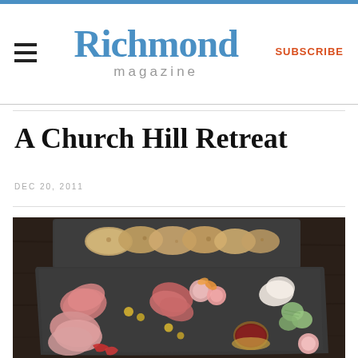Richmond magazine — SUBSCRIBE
A Church Hill Retreat
DEC 20, 2011
[Figure (photo): A charcuterie board with cured meats, pickled vegetables, mustard, and sliced bread on dark slate, shot from above on a dark wooden surface.]